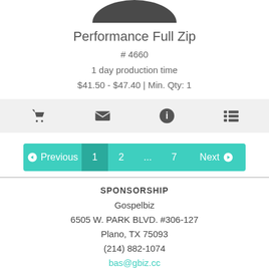[Figure (photo): Partial view of a dark curved product (Performance Full Zip jacket), showing the top arc/collar portion cropped at the top of the page]
Performance Full Zip
# 4660
1 day production time
$41.50 - $47.40 | Min. Qty: 1
[Figure (infographic): Icon toolbar with four icons: shopping cart, envelope, info (i), and list/menu icon, on a light gray background]
[Figure (infographic): Pagination bar with Previous, 1 (active), 2, ..., 7, Next buttons in teal/green color]
SPONSORSHIP
Gospelbiz
6505 W. PARK BLVD. #306-127
Plano, TX 75093
(214) 882-1074
bas@gbiz.cc